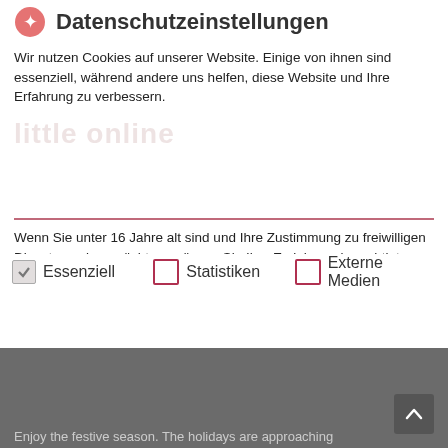Datenschutzeinstellungen
Wir nutzen Cookies auf unserer Website. Einige von ihnen sind essenziell, während andere uns helfen, diese Website und Ihre Erfahrung zu verbessern.
Wenn Sie unter 16 Jahre alt sind und Ihre Zustimmung zu freiwilligen Diensten geben möchten, müssen Sie Ihre Erziehungsberechtigten um Erlaubnis bitten.
Wir verwenden Cookies und andere Technologien auf unserer Website. Einige von ihnen sind essenziell, während andere uns helfen, diese Website und Ihre Erfahrung zu verbessern. Personenbezogene Daten können verarbeitet werden (z. B. IP-Adressen), z. B. für personalisierte Anzeigen und Inhalte oder
[Figure (screenshot): Cookie consent dialog with three checkboxes: Essenziell (checked, greyed), Statistiken (unchecked, red border), Externe Medien (unchecked, red border)]
Enjoy the festive season. The holidays are approaching